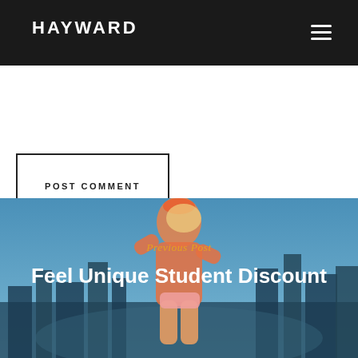HAYWARD
Save my name, email, and website in this browser for the next time I comment.
POST COMMENT
[Figure (photo): Fashion photo of a blonde woman in a tie-dye orange outfit posing in front of a city skyline with blue sky background]
Previous Post
Feel Unique Student Discount